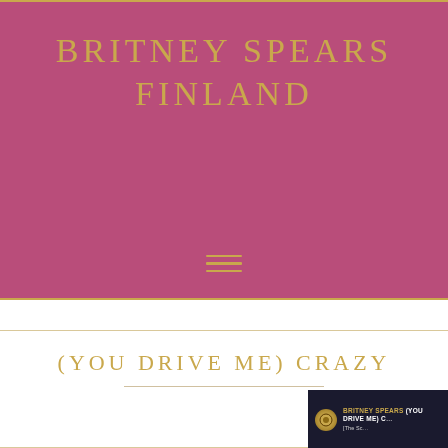BRITNEY SPEARS FINLAND
(YOU DRIVE ME) CRAZY
[Figure (photo): Thumbnail image showing a dark background with text 'BRITNEY SPEARS (YOU DRIVE ME) CRAZY' in white and gold letters, partially visible at bottom right of page]